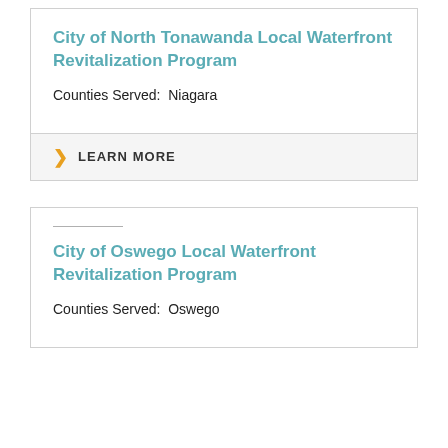City of North Tonawanda Local Waterfront Revitalization Program
Counties Served:  Niagara
LEARN MORE
City of Oswego Local Waterfront Revitalization Program
Counties Served:  Oswego